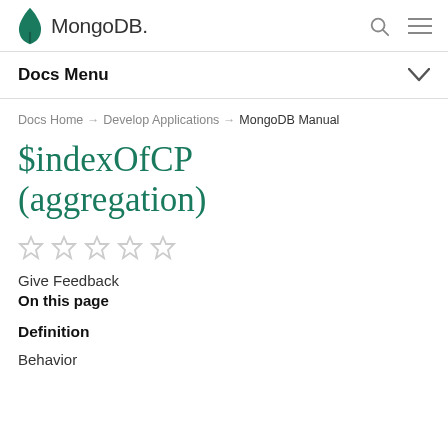MongoDB — Docs Menu
Docs Home → Develop Applications → MongoDB Manual
$indexOfCP (aggregation)
Give Feedback
On this page
Definition
Behavior